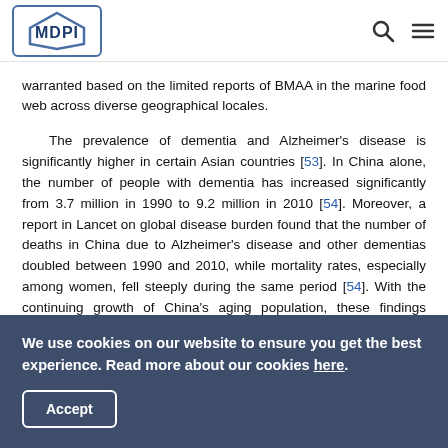MDPI [logo] [search icon] [menu icon]
warranted based on the limited reports of BMAA in the marine food web across diverse geographical locales.

The prevalence of dementia and Alzheimer's disease is significantly higher in certain Asian countries [53]. In China alone, the number of people with dementia has increased significantly from 3.7 million in 1990 to 9.2 million in 2010 [54]. Moreover, a report in Lancet on global disease burden found that the number of deaths in China due to Alzheimer's disease and other dementias doubled between 1990 and 2010, while mortality rates, especially among women, fell steeply during the same period [54]. With the continuing growth of China's aging population, these findings suggest that the nation is heading for a bigger dementia burden than anticipated [55]. The next part
We use cookies on our website to ensure you get the best experience. Read more about our cookies here.
Accept